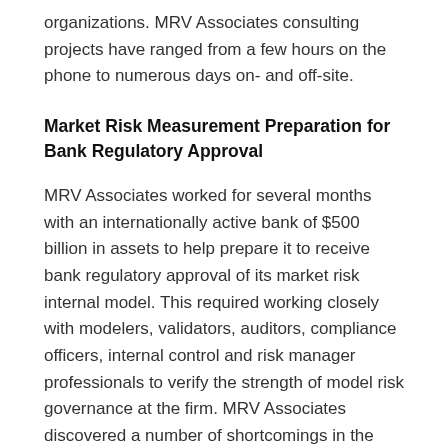organizations. MRV Associates consulting projects have ranged from a few hours on the phone to numerous days on- and off-site.
Market Risk Measurement Preparation for Bank Regulatory Approval
MRV Associates worked for several months with an internationally active bank of $500 billion in assets to help prepare it to receive bank regulatory approval of its market risk internal model. This required working closely with modelers, validators, auditors, compliance officers, internal control and risk manager professionals to verify the strength of model risk governance at the firm. MRV Associates discovered a number of shortcomings in the model and was able to offer solutions. After the completion of the project, the bank received permission